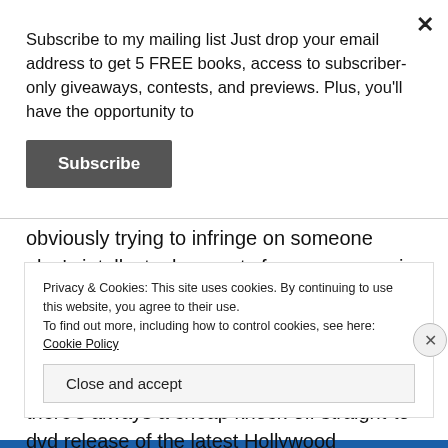Subscribe to my mailing list Just drop your email address to get 5 FREE books, access to subscriber-only giveaways, contests, and previews. Plus, you'll have the opportunity to
Subscribe
obviously trying to infringe on someone else's intellectual property for your own gain. I don't know the actual laws, so don't rely on me for legal advice, but it's not as big of a deal as many might think... it can't be– if you've ever gone to rent a video it seems there's always a cheap knock-off straight-to-dvd release of the latest Hollywood
Privacy & Cookies: This site uses cookies. By continuing to use this website, you agree to their use.
To find out more, including how to control cookies, see here: Cookie Policy
Close and accept